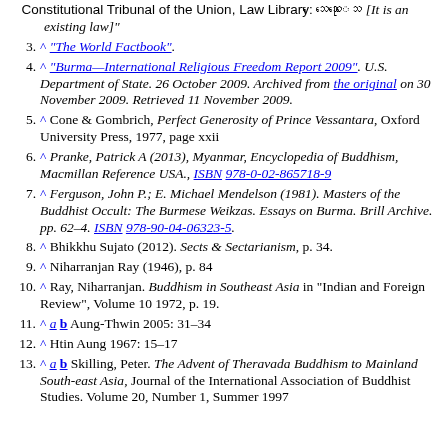Constitutional Tribunal of the Union, Law Library: [myanmar text] [It is an existing law]"
3. ^ "The World Factbook".
4. ^ "Burma—International Religious Freedom Report 2009". U.S. Department of State. 26 October 2009. Archived from the original on 30 November 2009. Retrieved 11 November 2009.
5. ^ Cone & Gombrich, Perfect Generosity of Prince Vessantara, Oxford University Press, 1977, page xxii
6. ^ Pranke, Patrick A (2013), Myanmar, Encyclopedia of Buddhism, Macmillan Reference USA., ISBN 978-0-02-865718-9
7. ^ Ferguson, John P.; E. Michael Mendelson (1981). Masters of the Buddhist Occult: The Burmese Weikzas. Essays on Burma. Brill Archive. pp. 62–4. ISBN 978-90-04-06323-5.
8. ^ Bhikkhu Sujato (2012). Sects & Sectarianism, p. 34.
9. ^ Niharranjan Ray (1946), p. 84
10. ^ Ray, Niharranjan. Buddhism in Southeast Asia in "Indian and Foreign Review", Volume 10 1972, p. 19.
11. ^ a b Aung-Thwin 2005: 31–34
12. ^ Htin Aung 1967: 15–17
13. ^ a b Skilling, Peter. The Advent of Theravada Buddhism to Mainland South-east Asia, Journal of the International Association of Buddhist Studies. Volume 20, Number 1, Summer 1997